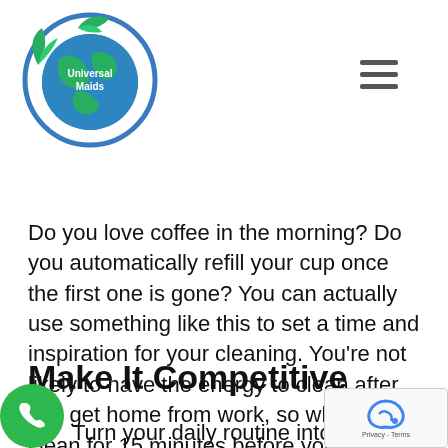[Figure (logo): Universal Maids logo — globe with green leaves and text 'Universal Maids']
Do you love coffee in the morning? Do you automatically refill your cup once the first one is gone? You can actually use something like this to set a time and inspiration for your cleaning. You're not likely to have the energy to clean after you get home from work, so why not clean for 15 minutes before you sit down with that next cup of coffee?
Make It Competitive
Turn your daily routine into a game by timing yourself in how fast you get the cleaning done